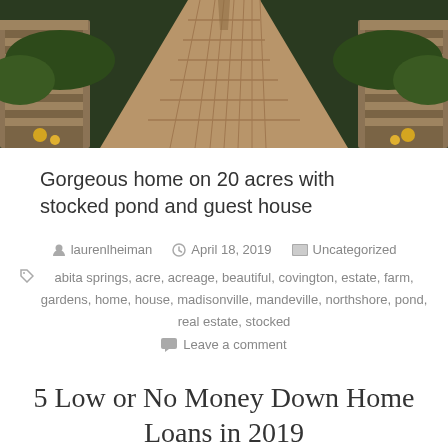[Figure (photo): Photo of a brick pathway leading through greenery, flanked by stone walls with yellow flowers on both sides, viewed from above.]
Gorgeous home on 20 acres with stocked pond and guest house
By laurenlheiman   April 18, 2019   Uncategorized
abita springs, acre, acreage, beautiful, covington, estate, farm, gardens, home, house, madisonville, mandeville, northshore, pond, real estate, stocked
Leave a comment
5 Low or No Money Down Home Loans in 2019